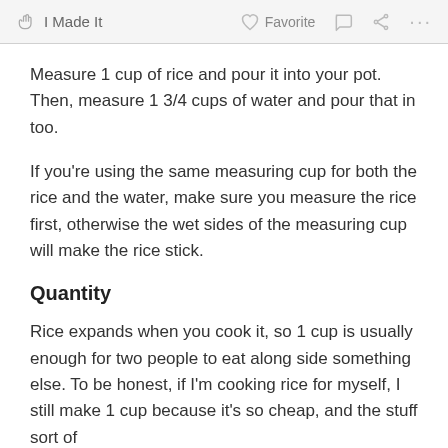✋ I Made It   ♡ Favorite   💬   ⋮⋮⋮
Measure 1 cup of rice and pour it into your pot. Then, measure 1 3/4 cups of water and pour that in too.
If you're using the same measuring cup for both the rice and the water, make sure you measure the rice first, otherwise the wet sides of the measuring cup will make the rice stick.
Quantity
Rice expands when you cook it, so 1 cup is usually enough for two people to eat along side something else. To be honest, if I'm cooking rice for myself, I still make 1 cup because it's so cheap, and the stuff sort of